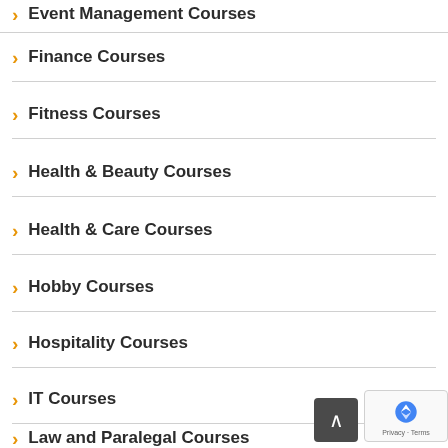Event Management Courses
Finance Courses
Fitness Courses
Health & Beauty Courses
Health & Care Courses
Hobby Courses
Hospitality Courses
IT Courses
Law and Paralegal Courses